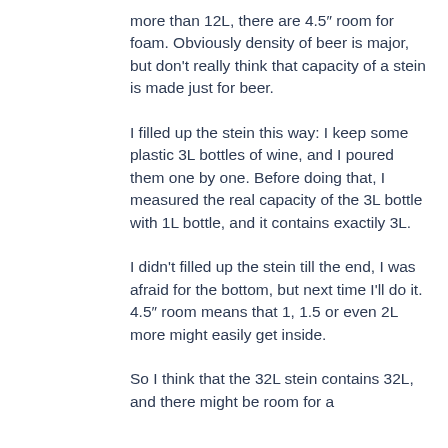more than 12L, there are 4.5″ room for foam. Obviously density of beer is major, but don't really think that capacity of a stein is made just for beer.
I filled up the stein this way: I keep some plastic 3L bottles of wine, and I poured them one by one. Before doing that, I measured the real capacity of the 3L bottle with 1L bottle, and it contains exactily 3L.
I didn't filled up the stein till the end, I was afraid for the bottom, but next time I'll do it. 4.5″ room means that 1, 1.5 or even 2L more might easily get inside.
So I think that the 32L stein contains 32L, and there might be room for a